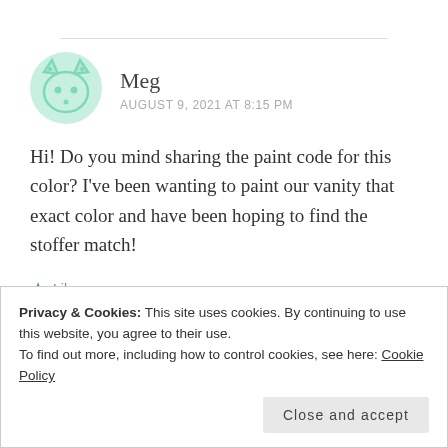[Figure (illustration): Green illustrated avatar icon of a cat-like figure with decorative dots]
Meg
AUGUST 9, 2021 AT 8:15 PM
Hi! Do you mind sharing the paint code for this color? I've been wanting to paint our vanity that exact color and have been hoping to find the stoffer match!
Like
Privacy & Cookies: This site uses cookies. By continuing to use this website, you agree to their use.
To find out more, including how to control cookies, see here: Cookie Policy
Close and accept